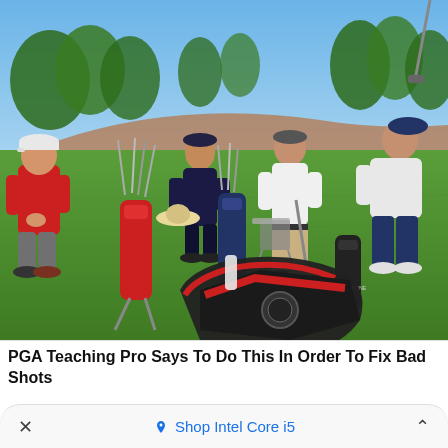[Figure (photo): Outdoor photo of several golfers on a green golf course on a sunny day. Multiple golf bags are visible including red and black bags. One golfer wearing a white shirt and khaki shorts stands in the middle holding a club. A golfer in red on the left and another in dark navy on the right are also visible. Trees and a clear blue sky are in the background.]
PGA Teaching Pro Says To Do This In Order To Fix Bad Shots
Shop Intel Core i5